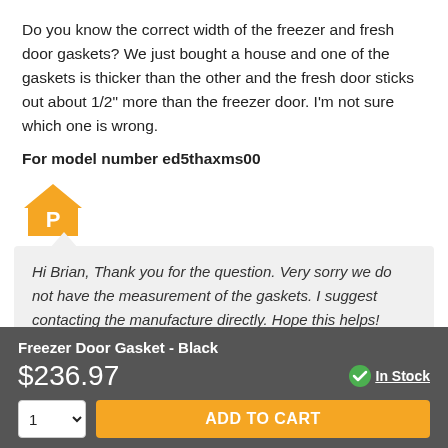Do you know the correct width of the freezer and fresh door gaskets? We just bought a house and one of the gaskets is thicker than the other and the fresh door sticks out about 1/2” more than the freezer door. I’m not sure which one is wrong.
For model number ed5thaxms00
[Figure (logo): Orange house-shaped icon with letter P in white]
Hi Brian, Thank you for the question. Very sorry we do not have the measurement of the gaskets. I suggest contacting the manufacture directly. Hope this helps!
Freezer Door Gasket - Black
$236.97
In Stock
ADD TO CART